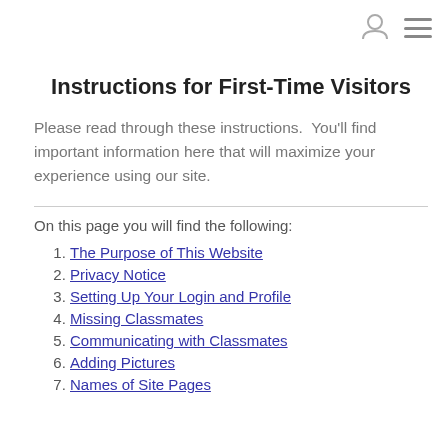[user icon] [menu icon]
Instructions for First-Time Visitors
Please read through these instructions.  You'll find important information here that will maximize your experience using our site.
On this page you will find the following:
1. The Purpose of This Website
2. Privacy Notice
3. Setting Up Your Login and Profile
4. Missing Classmates
5. Communicating with Classmates
6. Adding Pictures
7. Names of Site Pages